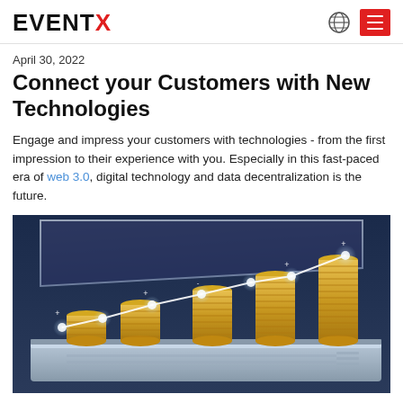EVENTX
April 30, 2022
Connect your Customers with New Technologies
Engage and impress your customers with technologies - from the first impression to their experience with you. Especially in this fast-paced era of web 3.0, digital technology and data decentralization is the future.
[Figure (photo): Photo of stacked gold coins on a laptop keyboard with a glowing white line chart overlay trending upward, symbolizing financial growth and digital technology.]